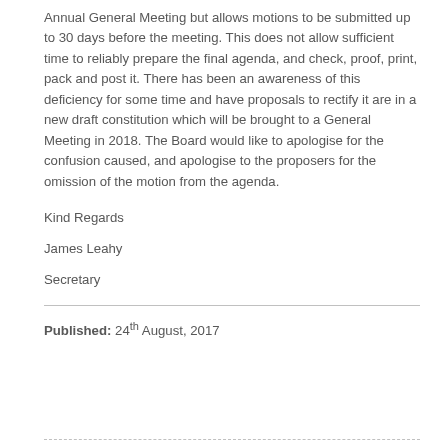Annual General Meeting but allows motions to be submitted up to 30 days before the meeting. This does not allow sufficient time to reliably prepare the final agenda, and check, proof, print, pack and post it. There has been an awareness of this deficiency for some time and have proposals to rectify it are in a new draft constitution which will be brought to a General Meeting in 2018. The Board would like to apologise for the confusion caused, and apologise to the proposers for the omission of the motion from the agenda.
Kind Regards
James Leahy
Secretary
Published: 24th August, 2017